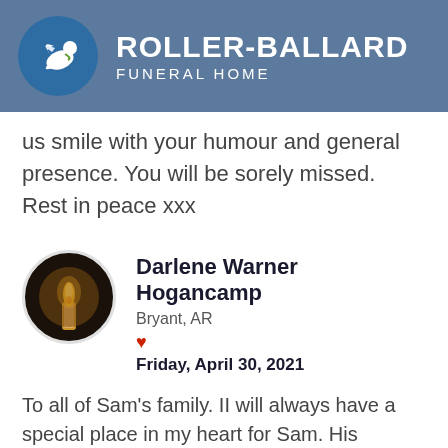ROLLER-BALLARD FUNERAL HOME
us smile with your humour and general presence. You will be sorely missed. Rest in peace xxx
Darlene Warner Hogancamp
Bryant, AR
Friday, April 30, 2021
To all of Sam's family. II will always have a special place in my heart for Sam. His